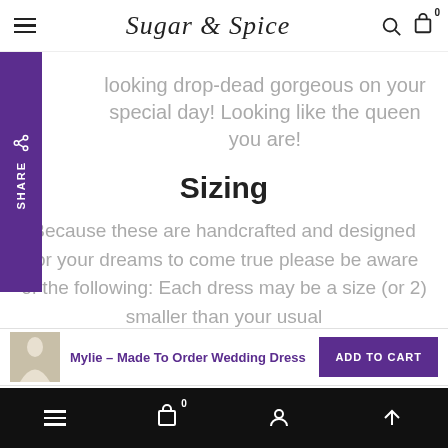Sugar & Spice — navigation bar with hamburger menu, logo, search, and cart icons
looking drop-dead gorgeous on your special day! Looking like the queen you are!
Sizing
Because these are handcrafted and designed for your dreams to come true please be aware of the following: Each dress may be a size (or 2) smaller than your usual
Mylie – Made To Order Wedding Dress  ADD TO CART  — bottom navigation bar